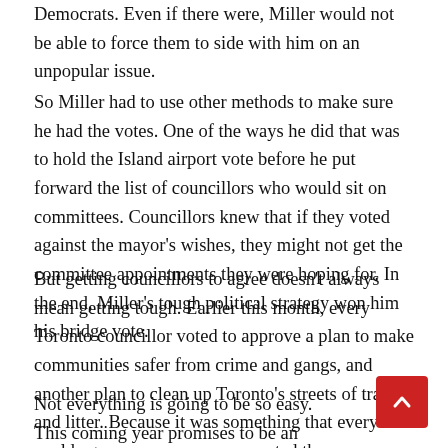Democrats. Even if there were, Miller would not be able to force them to side with him on an unpopular issue.
So Miller had to use other methods to make sure he had the votes. One of the ways he did that was to hold the Island airport vote before he put forward the list of councillors who would sit on committees. Councillors knew that if they voted against the mayor's wishes, they might not get the committee appointments they were hoping for. In the end, Miller's tough political strategy won him his bridge vote.
But getting councillors to agree doesn't always mean getting tough. Earlier this month, every Toronto councillor voted to approve a plan to make communities safer from crime and gangs, and another plan to clean up Toronto's streets of trash and litter. Because it was something that everyone could agree on, everyone supported the mayor.
Not everything is going to be so easy. This coming year promises to be an interesting one at city hall. David Miller a…